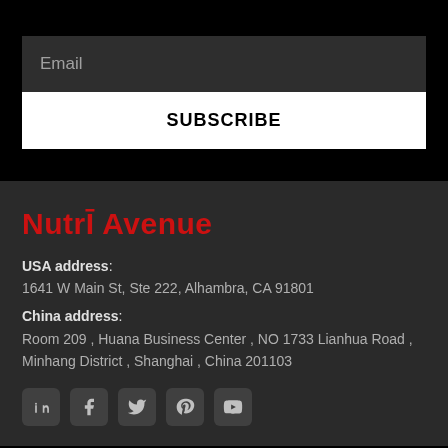Email
SUBSCRIBE
NutrĪ Avenue
USA address: 1641 W Main St, Ste 222, Alhambra, CA 91801
China address: Room 209 , Huana Business Center , NO 1733 Lianhua Road , Minhang District , Shanghai , China 201103
[Figure (illustration): Social media icons: LinkedIn, Facebook, Twitter, Pinterest, YouTube]